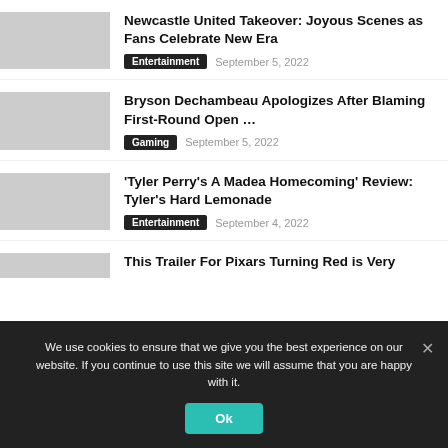Newcastle United Takeover: Joyous Scenes as Fans Celebrate New Era
Entertainment   September 5, 2022
Bryson Dechambeau Apologizes After Blaming First-Round Open …
Gaming   September 5, 2022
'Tyler Perry's A Madea Homecoming' Review: Tyler's Hard Lemonade
Entertainment   September 4, 2022
This Trailer For Pixars Turning Red is Very
We use cookies to ensure that we give you the best experience on our website. If you continue to use this site we will assume that you are happy with it.
Ok